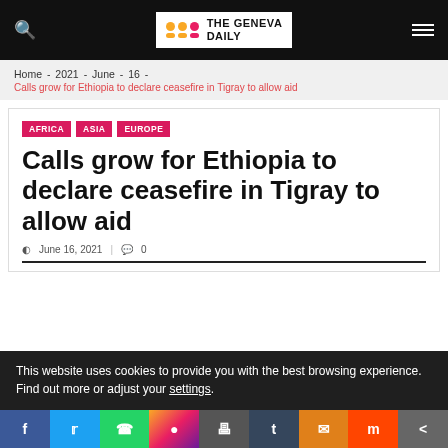The Geneva Daily
Home - 2021 - June - 16 - Calls grow for Ethiopia to declare ceasefire in Tigray to allow aid
AFRICA  ASIA  EUROPE
Calls grow for Ethiopia to declare ceasefire in Tigray to allow aid
June 16, 2021  |  0
This website uses cookies to provide you with the best browsing experience.
Find out more or adjust your settings.